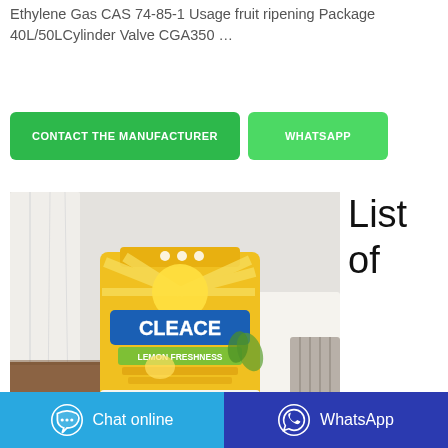Ethylene Gas CAS 74-85-1 Usage fruit ripening Package 40L/50LCylinder Valve CGA350 …
CONTACT THE MANUFACTURER
WHATSAPP
[Figure (photo): A bag of CLEACE Lemon Freshness washing/laundry powder on a wooden table with white curtain background]
List of
Chat online
WhatsApp